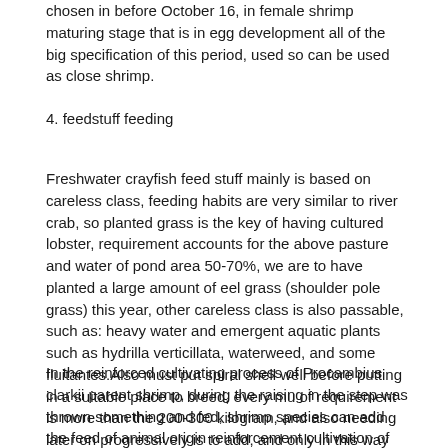chosen in before October 16, in female shrimp maturing stage that is in egg development all of the big specification of this period, used so can be used as close shrimp.
4. feedstuff feeding
Freshwater crayfish feed stuff mainly is based on careless class, feeding habits are very similar to river crab, so planted grass is the key of having cultured lobster, requirement accounts for the above pasture and water of pond area 50-70%, we are to have planted a large amount of eel grass (shoulder pole grass) this year, other careless class is also passable, such as: heavy water and emergent aquatic plants such as hydrilla verticillata, waterweed, and some fluitantes.Also must put spiral shell well before putting in a suitable place to breed, every mu of requirement is more than the 200-300 kilogram, and also needing later on progressively is to add, and only in this way could guarantee to support good lobster.
In the reinforced cultivating process of Procambius clarkii parent shrimp, during the raising in the step was thrown something and fed, shrimp species can add the feed of animal origin reinforcement cultivation of part, the needs